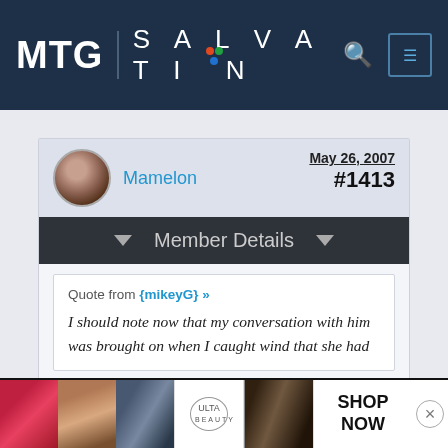MTG | SALVATION
Mamelon  May 26, 2007  #1413
Member Details
Quote from {mikeyG} »
I should note now that my conversation with him was brought on when I caught wind that she had
[Figure (photo): Advertisement banner showing beauty/makeup images including lips, brush, eyes, Ulta logo, with SHOP NOW button]